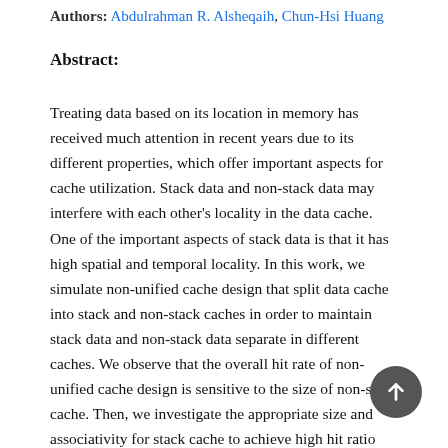Authors: Abdulrahman R. Alsheqaih, Chun-Hsi Huang
Abstract:
Treating data based on its location in memory has received much attention in recent years due to its different properties, which offer important aspects for cache utilization. Stack data and non-stack data may interfere with each other's locality in the data cache. One of the important aspects of stack data is that it has high spatial and temporal locality. In this work, we simulate non-unified cache design that split data cache into stack and non-stack caches in order to maintain stack data and non-stack data separate in different caches. We observe that the overall hit rate of non-unified cache design is sensitive to the size of non-stack cache. Then, we investigate the appropriate size and associativity for stack cache to achieve high hit ratio especially when over 99% of accesses are directed